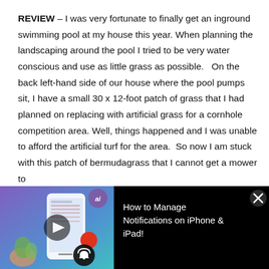REVIEW – I was very fortunate to finally get an inground swimming pool at my house this year. When planning the landscaping around the pool I tried to be very water conscious and use as little grass as possible.   On the back left-hand side of our house where the pool pumps sit, I have a small 30 x 12-foot patch of grass that I had planned on replacing with artificial grass for a cornhole competition area. Well, things happened and I was unable to afford the artificial turf for the area.  So now I am stuck with this patch of bermudagrass that I cannot get a mower to
[Figure (screenshot): Video banner with thumbnail showing a smartphone with AI app icon and notification bell icon, play button overlay, and text 'How to Manage Notifications on iPhone & iPad!' with a close button.]